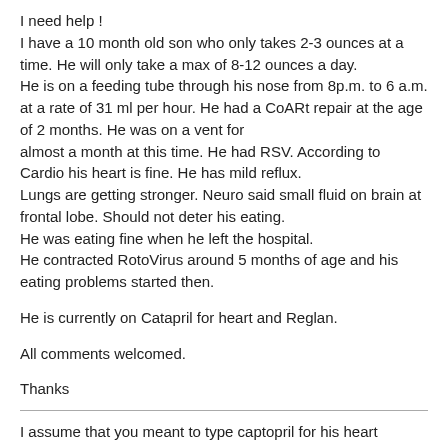I need help !
I have a 10 month old son who only takes 2-3 ounces at a time. He will only take a max of 8-12 ounces a day.
He is on a feeding tube through his nose from 8p.m. to 6 a.m. at a rate of 31 ml per hour. He had a CoARt repair at the age of 2 months. He was on a vent for
almost a month at this time. He had RSV. According to Cardio his heart is fine. He has mild reflux.
Lungs are getting stronger. Neuro said small fluid on brain at frontal lobe. Should not deter his eating.
He was eating fine when he left the hospital.
He contracted RotoVirus around 5 months of age and his eating problems started then.

He is currently on Catapril for heart and Reglan.

All comments welcomed.

Thanks
I assume that you meant to type captopril for his heart medication. I cannot find any anoxeria listed as a side effect for that drug and Reglan is of coures a stomach med in it self. One thing you didn't mention is how often you feed him during the day. When I brought my